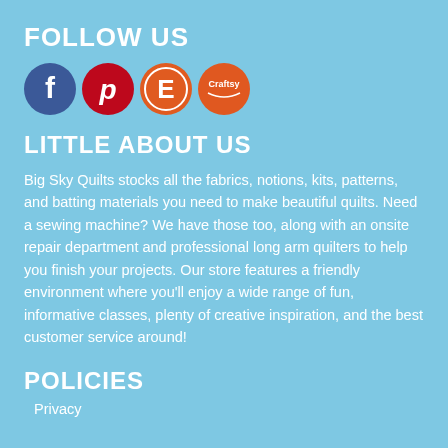FOLLOW US
[Figure (logo): Four social media / platform icons: Facebook (dark blue circle with F), Pinterest (red circle with P), Etsy (orange circle with E), Craftsy (orange circle with Craftsy logo)]
LITTLE ABOUT US
Big Sky Quilts stocks all the fabrics, notions, kits, patterns, and batting materials you need to make beautiful quilts. Need a sewing machine? We have those too, along with an onsite repair department and professional long arm quilters to help you finish your projects. Our store features a friendly environment where you'll enjoy a wide range of fun, informative classes, plenty of creative inspiration, and the best customer service around!
POLICIES
Privacy